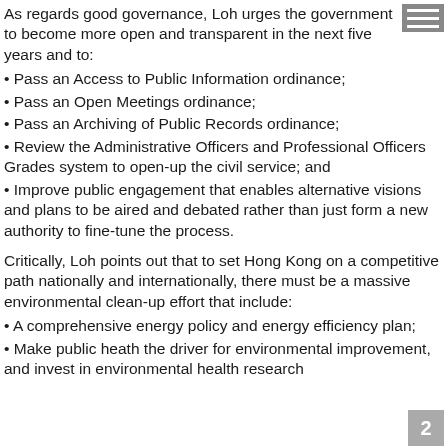As regards good governance, Loh urges the government to become more open and transparent in the next five years and to:
Pass an Access to Public Information ordinance;
Pass an Open Meetings ordinance;
Pass an Archiving of Public Records ordinance;
Review the Administrative Officers and Professional Officers Grades system to open-up the civil service; and
Improve public engagement that enables alternative visions and plans to be aired and debated rather than just form a new authority to fine-tune the process.
Critically, Loh points out that to set Hong Kong on a competitive path nationally and internationally, there must be a massive environmental clean-up effort that include:
A comprehensive energy policy and energy efficiency plan;
Make public heath the driver for environmental improvement, and invest in environmental health research